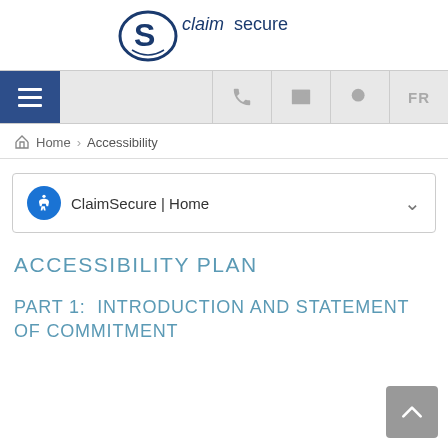[Figure (logo): ClaimSecure logo with stylized S icon and text 'claimsecure']
[Figure (screenshot): Navigation bar with hamburger menu button (blue), phone icon, email icon, search icon, and FR language toggle]
Home > Accessibility
ClaimSecure | Home
ACCESSIBILITY PLAN
PART 1:  INTRODUCTION AND STATEMENT OF COMMITMENT